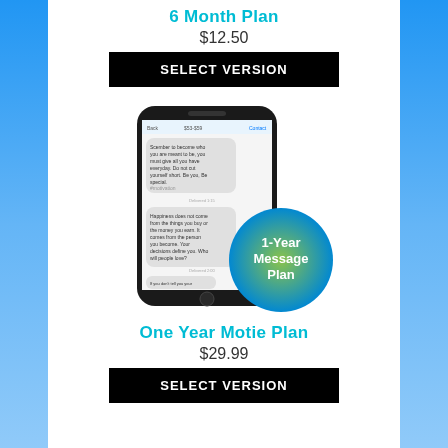6 Month Plan
$12.50
SELECT VERSION
[Figure (photo): Smartphone showing a messaging/motivational text message app with a green/blue '1-Year Message Plan' circle badge overlay]
One Year Motie Plan
$29.99
SELECT VERSION